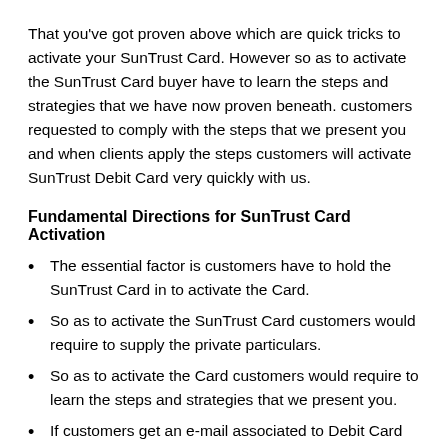That you've got proven above which are quick tricks to activate your SunTrust Card. However so as to activate the SunTrust Card buyer have to learn the steps and strategies that we have now proven beneath. customers requested to comply with the steps that we present you and when clients apply the steps customers will activate SunTrust Debit Card very quickly with us.
Fundamental Directions for SunTrust Card Activation
The essential factor is customers have to hold the SunTrust Card in to activate the Card.
So as to activate the SunTrust Card customers would require to supply the private particulars.
So as to activate the Card customers would require to learn the steps and strategies that we present you.
If customers get an e-mail associated to Debit Card or